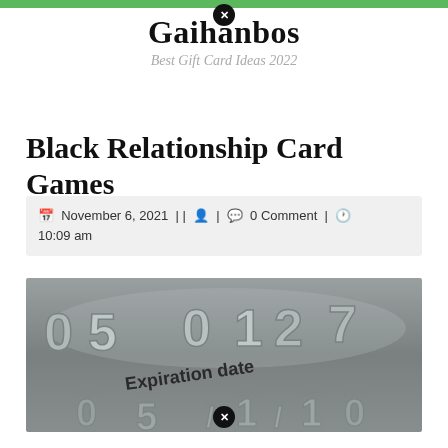Gaihanbos — Best Gift Card Ideas 2022
Black Relationship Card Games
November 6, 2021 || [user icon] | [comment icon] 0 Comment | [clock icon] 10:09 am
[Figure (photo): Close-up macro photo of a metallic credit card showing embossed numbers '05 0127' and the text 'Expiration date' with partial digits below]